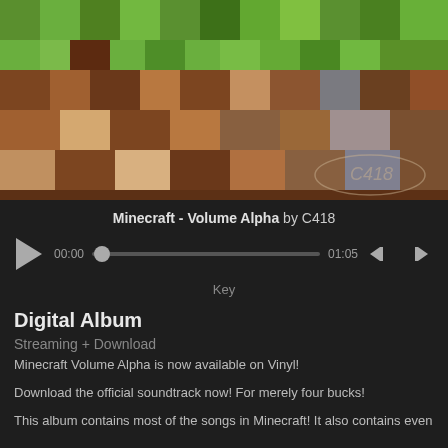[Figure (illustration): Minecraft dirt block with grass on top, pixelated art style with brown, tan, green and grey colors. C418 logo watermark in bottom right corner.]
Minecraft - Volume Alpha by C418
[Figure (other): Audio player controls: play button triangle, time 00:00, scrubber bar with knob, end time 01:05, skip-back and skip-forward buttons]
Key
Digital Album
Streaming + Download
Minecraft Volume Alpha is now available on Vinyl!
Download the official soundtrack now! For merely four bucks!
This album contains most of the songs in Minecraft! It also contains even